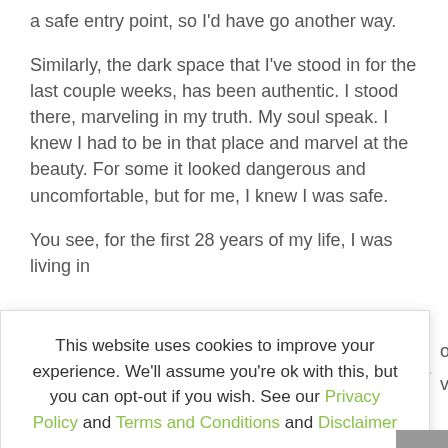a safe entry point, so I'd have go another way.
Similarly, the dark space that I've stood in for the last couple weeks, has been authentic.  I stood there, marveling in my truth.  My soul speak.  I knew I had to be in that place and marvel at the beauty. For some it looked dangerous and uncomfortable, but for me, I knew I was safe.
You see, for the first 28 years of my life, I was living in [text partially obscured by cookie banner]
This website uses cookies to improve your experience. We'll assume you're ok with this, but you can opt-out if you wish. See our Privacy Policy and Terms and Conditions and Disclaimer
My answer to this is nothing.